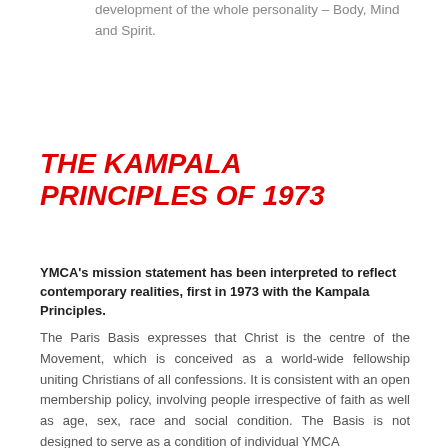development of the whole personality – Body, Mind and Spirit.
THE KAMPALA PRINCIPLES OF 1973
YMCA's mission statement has been interpreted to reflect contemporary realities, first in 1973 with the Kampala Principles.
The Paris Basis expresses that Christ is the centre of the Movement, which is conceived as a world-wide fellowship uniting Christians of all confessions. It is consistent with an open membership policy, involving people irrespective of faith as well as age, sex, race and social condition. The Basis is not designed to serve as a condition of individual YMCA